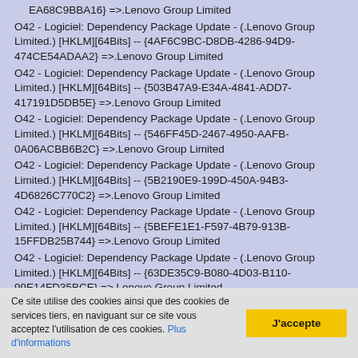EA68C9BBA16} =>.Lenovo Group Limited (partial, top of page)
O42 - Logiciel: Dependency Package Update - (.Lenovo Group Limited.) [HKLM][64Bits] -- {4AF6C9BC-D8DB-4286-94D9-474CE54ADAA2} =>.Lenovo Group Limited
O42 - Logiciel: Dependency Package Update - (.Lenovo Group Limited.) [HKLM][64Bits] -- {503B47A9-E34A-4841-ADD7-417191D5DB5E} =>.Lenovo Group Limited
O42 - Logiciel: Dependency Package Update - (.Lenovo Group Limited.) [HKLM][64Bits] -- {546FF45D-2467-4950-AAFB-0A06ACBB6B2C} =>.Lenovo Group Limited
O42 - Logiciel: Dependency Package Update - (.Lenovo Group Limited.) [HKLM][64Bits] -- {5B2190E9-199D-450A-94B3-4D6826C770C2} =>.Lenovo Group Limited
O42 - Logiciel: Dependency Package Update - (.Lenovo Group Limited.) [HKLM][64Bits] -- {5BEFE1E1-F597-4B79-913B-15FFDB25B744} =>.Lenovo Group Limited
O42 - Logiciel: Dependency Package Update - (.Lenovo Group Limited.) [HKLM][64Bits] -- {63DE35C9-B080-4D03-B110-99E14FD35BCE} =>.Lenovo Group Limited
O42 - Logiciel: Dependency Package Update - (.Lenovo Group (partial, bottom of page)
Ce site utilise des cookies ainsi que des cookies de services tiers, en naviguant sur ce site vous acceptez l'utilisation de ces cookies. Plus d'informations
J'accepte